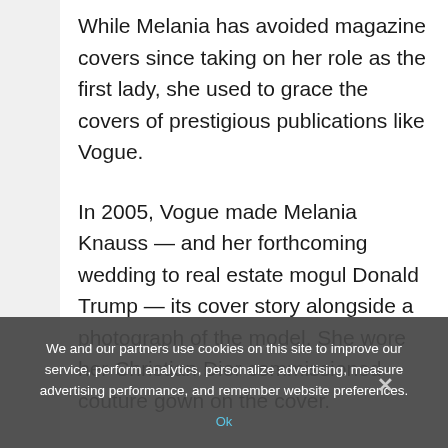While Melania has avoided magazine covers since taking on her role as the first lady, she used to grace the covers of prestigious publications like Vogue.
In 2005, Vogue made Melania Knauss — and her forthcoming wedding to real estate mogul Donald Trump — its cover story alongside a photograph of the model. She wore her Christian Dior commissioned couture gown on the cover.
We and our partners use cookies on this site to improve our service, perform analytics, personalize advertising, measure advertising performance, and remember website preferences.